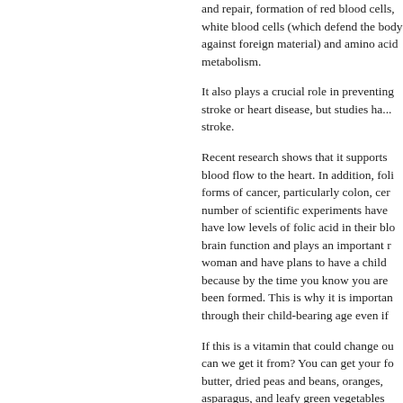and repair, formation of red blood cells, white blood cells (which defend the body against foreign material) and amino acid metabolism.
It also plays a crucial role in preventing stroke or heart disease, but studies have shown that folic acid does not prevent stroke.
Recent research shows that it supports blood flow to the heart. In addition, folic acid may fight forms of cancer, particularly colon, cervical. A number of scientific experiments have shown that people who have low levels of folic acid in their blood have reduced brain function and plays an important role. If you are a woman and have plans to have a child, start taking it now, because by the time you know you are pregnant, the spine has been formed. This is why it is important for women to take it through their child-bearing age even if
If this is a vitamin that could change our lives, where can we get it from? You can get your folic acid from peanut butter, dried peas and beans, oranges, asparagus, and leafy green vegetables
Should Only Women Take Folic Acid?
No, not really. Every adult man and woman should take it to reduce heart disease, colon cancer, and stroke
Some breakfast cereals with 100% of the daily value for folic acid. Crunchy Nuggets, Multi-Grain Cheerios, Product 19, Total Corn Flakes, Total Raisin Bran, and Special